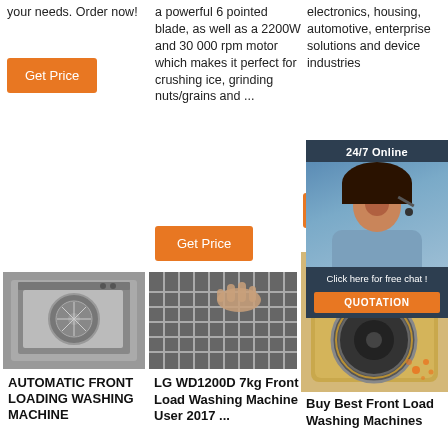your needs. Order now!
a powerful 6 pointed blade, as well as a 2200W and 30 000 rpm motor which makes it perfect for crushing ice, grinding nuts/grains and ...
electronics, housing, automotive, enterprise solutions and device industries
[Figure (other): Orange Get Price button (column 1)]
[Figure (other): Orange Get Price button (column 2)]
[Figure (other): Orange Get Pi button (column 3, partially hidden by widget)]
[Figure (photo): 24/7 Online chat widget with woman wearing headset, dark navy background, QUOTATION button in orange]
[Figure (photo): Black and white photo of automatic front loading washing machine / dishwasher]
[Figure (photo): Black and white close-up photo of dishwasher rack with hand]
[Figure (photo): Gold/champagne front load washing machine product photo]
AUTOMATIC FRONT LOADING WASHING MACHINE
LG WD1200D 7kg Front Load Washing Machine User 2017 ...
Buy Best Front Load Washing Machines